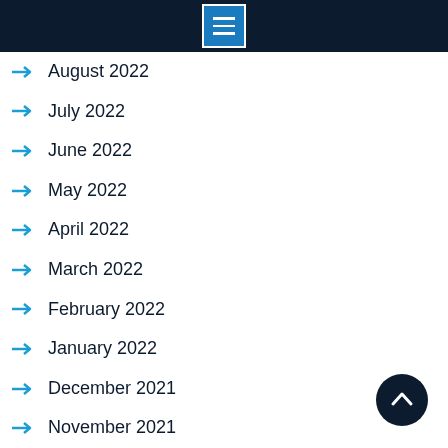Menu
August 2022
July 2022
June 2022
May 2022
April 2022
March 2022
February 2022
January 2022
December 2021
November 2021
October 2021
September 2021
August 2021